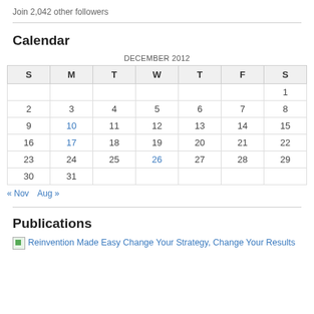Join 2,042 other followers
Calendar
| S | M | T | W | T | F | S |
| --- | --- | --- | --- | --- | --- | --- |
|  |  |  |  |  |  | 1 |
| 2 | 3 | 4 | 5 | 6 | 7 | 8 |
| 9 | 10 | 11 | 12 | 13 | 14 | 15 |
| 16 | 17 | 18 | 19 | 20 | 21 | 22 |
| 23 | 24 | 25 | 26 | 27 | 28 | 29 |
| 30 | 31 |  |  |  |  |  |
« Nov   Aug »
Publications
Reinvention Made Easy Change Your Strategy, Change Your Results